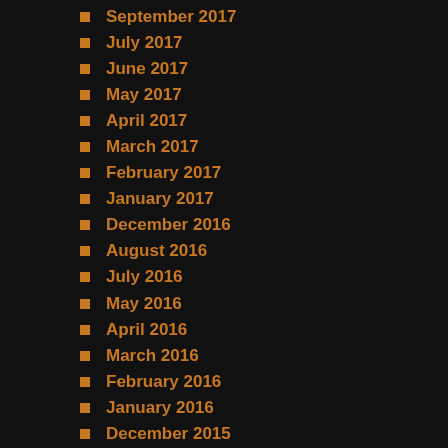September 2017
July 2017
June 2017
May 2017
April 2017
March 2017
February 2017
January 2017
December 2016
August 2016
July 2016
May 2016
April 2016
March 2016
February 2016
January 2016
December 2015
November 2015
October 2015
August 2015
June 2015